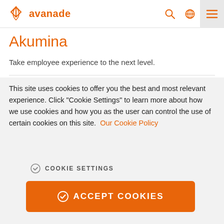avanade
Akumina
Take employee experience to the next level.
This site uses cookies to offer you the best and most relevant experience. Click "Cookie Settings" to learn more about how we use cookies and how you as the user can control the use of certain cookies on this site. Our Cookie Policy
COOKIE SETTINGS
ACCEPT COOKIES